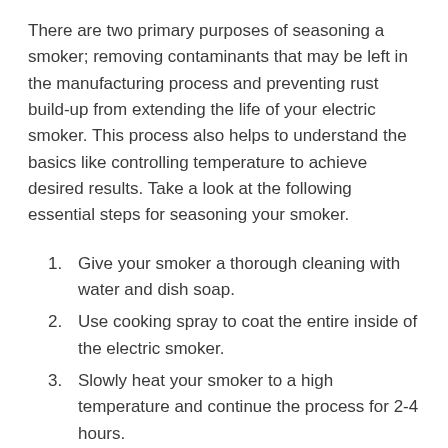There are two primary purposes of seasoning a smoker; removing contaminants that may be left in the manufacturing process and preventing rust build-up from extending the life of your electric smoker. This process also helps to understand the basics like controlling temperature to achieve desired results. Take a look at the following essential steps for seasoning your smoker.
1. Give your smoker a thorough cleaning with water and dish soap.
2. Use cooking spray to coat the entire inside of the electric smoker.
3. Slowly heat your smoker to a high temperature and continue the process for 2-4 hours.